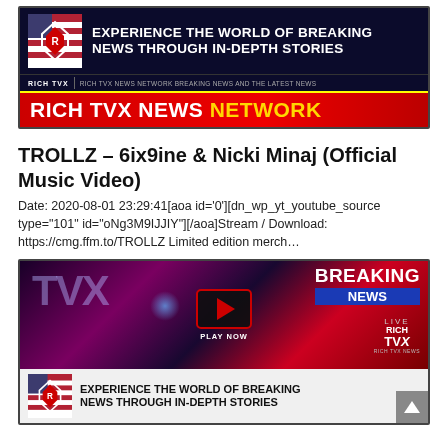[Figure (screenshot): Rich TVX News Network banner ad with logo, tagline 'EXPERIENCE THE WORLD OF BREAKING NEWS THROUGH IN-DEPTH STORIES', subtitle 'RICH TVX NEWS NETWORK BREAKING NEWS AND THE LATEST NEWS', and red banner reading 'RICH TVX NEWS NETWORK']
TROLLZ – 6ix9ine & Nicki Minaj (Official Music Video)
Date: 2020-08-01 23:29:41[aoa id='0'][dn_wp_yt_youtube_source type="101" id="oNg3M9IJJIY"][/aoa]Stream / Download: https://cmg.ffm.to/TROLLZ Limited edition merch…
[Figure (screenshot): Rich TVX News Network video thumbnail showing TVX logo on dark background with fireworks, BREAKING NEWS overlay on red background, LIVE RICH TVX branding on right, play button in center with PLAY NOW text below, and Rich TVX Experience banner at bottom]